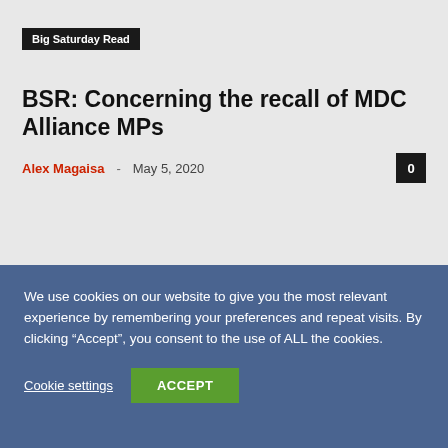Big Saturday Read
BSR: Concerning the recall of MDC Alliance MPs
Alex Magaisa · May 5, 2020
We use cookies on our website to give you the most relevant experience by remembering your preferences and repeat visits. By clicking “Accept”, you consent to the use of ALL the cookies.
Cookie settings   ACCEPT